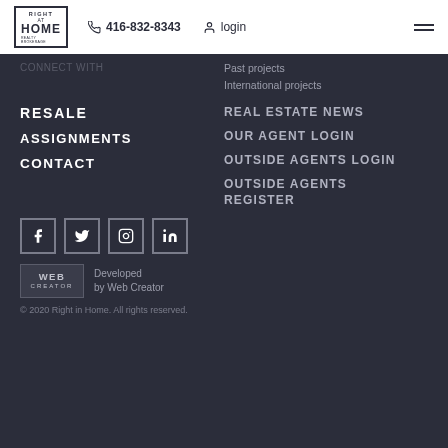Right at Home | 416-832-8343 | login
Past projects
International projects
RESALE
REAL ESTATE NEWS
ASSIGNMENTS
OUR AGENT LOGIN
CONTACT
OUTSIDE AGENTS LOGIN
OUTSIDE AGENTS REGISTER
[Figure (other): Social media icons: Facebook, Twitter, Instagram, LinkedIn]
[Figure (logo): Web Creator logo with text: Developed by Web Creator]
© 2020 Right in Home. All rights reserved.